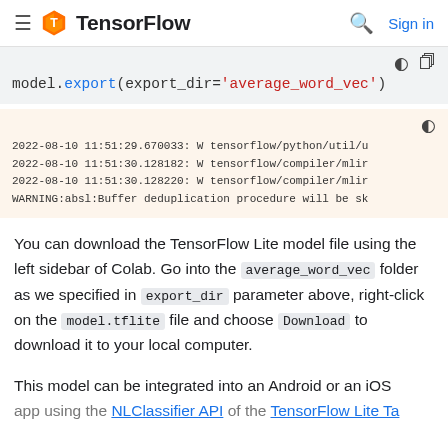TensorFlow — Sign in
[Figure (screenshot): Code block showing: model.export(export_dir='average_word_vec')]
[Figure (screenshot): Output block showing TensorFlow warning messages dated 2022-08-10]
You can download the TensorFlow Lite model file using the left sidebar of Colab. Go into the average_word_vec folder as we specified in export_dir parameter above, right-click on the model.tflite file and choose Download to download it to your local computer.
This model can be integrated into an Android or an iOS app using the NLClassifier API of the TensorFlow Lite Task...